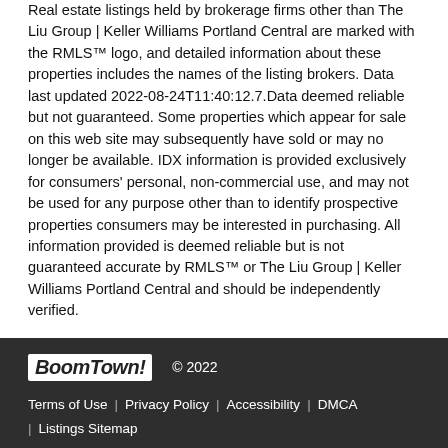Real estate listings held by brokerage firms other than The Liu Group | Keller Williams Portland Central are marked with the RMLS™ logo, and detailed information about these properties includes the names of the listing brokers. Data last updated 2022-08-24T11:40:12.7.Data deemed reliable but not guaranteed. Some properties which appear for sale on this web site may subsequently have sold or may no longer be available. IDX information is provided exclusively for consumers' personal, non-commercial use, and may not be used for any purpose other than to identify prospective properties consumers may be interested in purchasing. All information provided is deemed reliable but is not guaranteed accurate by RMLS™ or The Liu Group | Keller Williams Portland Central and should be independently verified.
BoomTown! © 2022 | Terms of Use | Privacy Policy | Accessibility | DMCA | Listings Sitemap
Take a Tour
Ask A Question